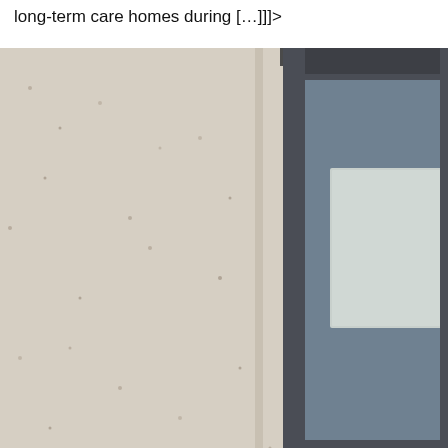long-term care homes during […]]]>
[Figure (photo): Close-up photograph of the exterior of a building showing a textured light-grey/beige concrete or stone wall on the left, and a dark grey framed glass door or window panel on the right. The glass panel has a blue-grey tint and contains a frosted or paper-covered rectangular inset. The top of the frame shows a dark horizontal bar.]